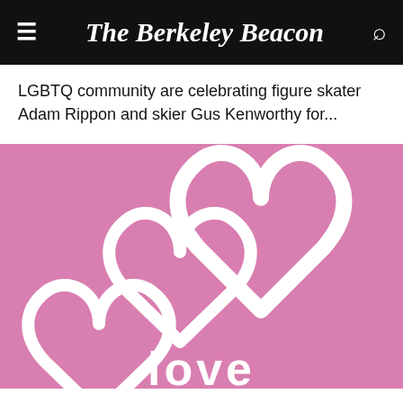The Berkeley Beacon
LGBTQ community are celebrating figure skater Adam Rippon and skier Gus Kenworthy for...
[Figure (illustration): Pink background with two overlapping white heart outlines and the word 'love' in white text at the bottom center]